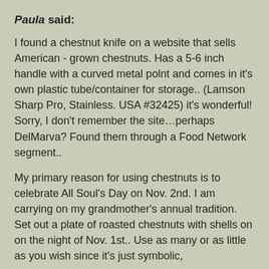Paula said:
I found a chestnut knife on a website that sells American - grown chestnuts. Has a 5-6 inch handle with a curved metal polnt and comes in it's own plastic tube/container for storage.. (Lamson Sharp Pro, Stainless. USA #32425) it's wonderful! Sorry, I don't remember the site…perhaps DelMarva? Found them through a Food Network segment..
My primary reason for using chestnuts is to celebrate All Soul's Day on Nov. 2nd. I am carrying on my grandmother's annual tradition. Set out a plate of roasted chestnuts with shells on on the night of Nov. 1st.. Use as many or as little as you wish since it's just symbolic,
I have a lot of prayer cards from the funerals of dearly departed loved ones and friends.. I place them on a table with the plate of chestnuts and some photo's and/or a list of